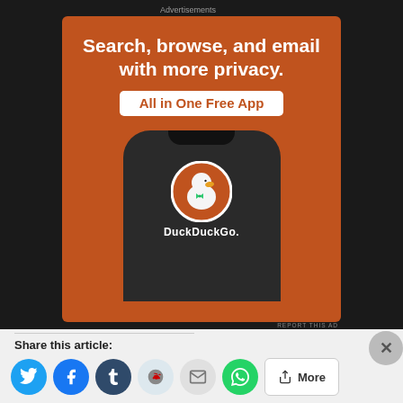Advertisements
[Figure (illustration): DuckDuckGo advertisement banner. Orange background showing a smartphone with DuckDuckGo logo and duck icon. Text reads: Search, browse, and email with more privacy. All in One Free App. DuckDuckGo.]
REPORT THIS AD
Share this article:
[Figure (illustration): Social sharing buttons: Twitter (blue bird), Facebook (blue f), Tumblr (dark blue t), Reddit (light blue alien), Email (grey envelope), WhatsApp (green phone), More button]
[Figure (illustration): Day One journaling app advertisement. Text: The only journaling app you'll ever need.]
Advertisements